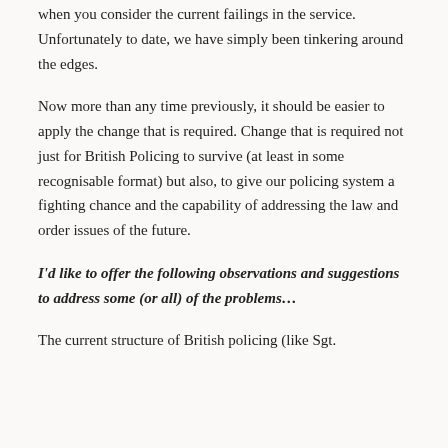when you consider the current failings in the service. Unfortunately to date, we have simply been tinkering around the edges.
Now more than any time previously, it should be easier to apply the change that is required. Change that is required not just for British Policing to survive (at least in some recognisable format) but also, to give our policing system a fighting chance and the capability of addressing the law and order issues of the future.
I'd like to offer the following observations and suggestions to address some (or all) of the problems…
The current structure of British policing (like Sgt.